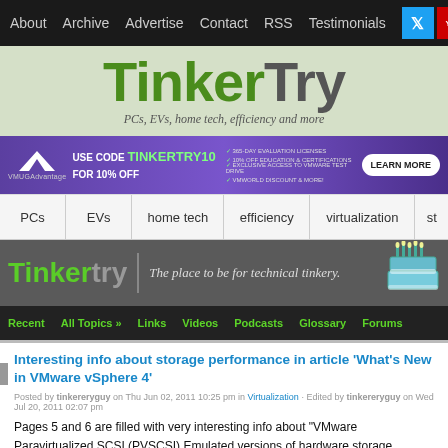About  Archive  Advertise  Contact  RSS  Testimonials
TinkerTry
PCs, EVs, home tech, efficiency and more
[Figure (infographic): VMUG Advantage banner ad: USE CODE TINKERTRY10 FOR 10% OFF, with checklist items and LEARN MORE button]
PCs   EVs   home tech   efficiency   virtualization   s...
[Figure (logo): TinkerTry logo with tagline: The place to be for technical tinkery, and birthday cake image]
Recent   All Topics »   Links   Videos   Podcasts   Glossary   Forums
Interesting info about storage performance in article 'What's New in VMware vSphere 4'
Posted by tinkertry guy on Thu Jun 02, 2011 10:25 pm in Virtualization · Edited by tinkertry guy on Wed Jul 20, 2011 02:07 pm
Pages 5 and 6 are filled with very interesting info about "VMware Paravirtualized SCSI (PVSCSI) Emulated versions of hardware storage adapters."